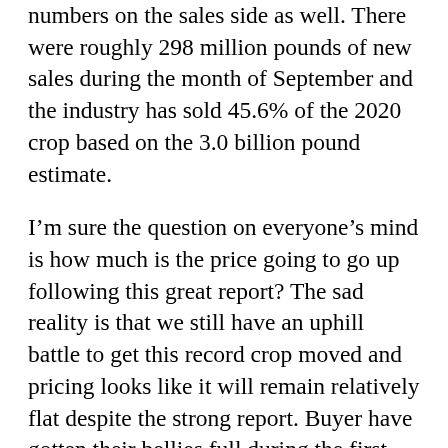numbers on the sales side as well. There were roughly 298 million pounds of new sales during the month of September and the industry has sold 45.6% of the 2020 crop based on the 3.0 billion pound estimate.
I’m sure the question on everyone’s mind is how much is the price going to go up following this great report? The sad reality is that we still have an uphill battle to get this record crop moved and pricing looks like it will remain relatively flat despite the strong report. Buyer have gotten their bellies full during the first part of the year while prices remain low. They are also aware that the industry still has a huge percentage of quote growers with unsold pounds, buyer’s feel that